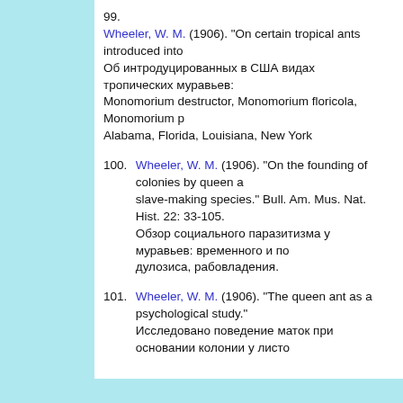99. Wheeler, W. M. (1906). "On certain tropical ants introduced into the United States." Об интродуцированных в США видах тропических муравьев: Monomorium destructor, Monomorium floricola, Monomorium p... Alabama, Florida, Louisiana, New York
100. Wheeler, W. M. (1906). "On the founding of colonies by queen ants and slave-making species." Bull. Am. Mus. Nat. Hist. 22: 33-105. Обзор социального паразитизма у муравьев: временного и по... дулозиса, рабовладения.
101. Wheeler, W. M. (1906). "The queen ant as a psychological study." Исследовано поведение маток при основании колонии у листо...
©2007, Vladislav Krasilnikov
Всякое использование без согласования с автором и без активной гиперссылки на наш сайт пре... охране авторских прав.